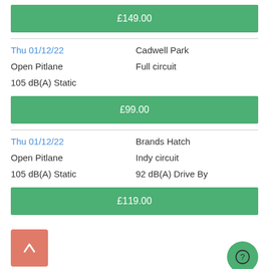£149.00
Thu 01/12/22
Cadwell Park
Open Pitlane
Full circuit
105 dB(A) Static
£99.00
Thu 01/12/22
Brands Hatch
Open Pitlane
Indy circuit
105 dB(A) Static
92 dB(A) Drive By
£119.00